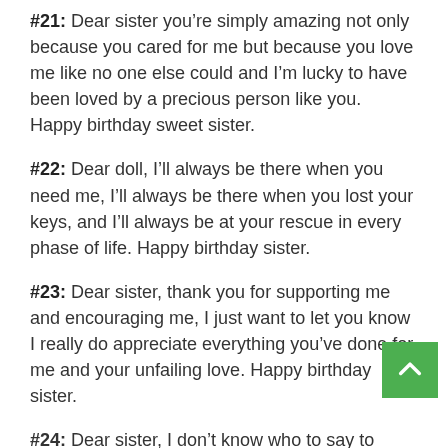#21: Dear sister you’re simply amazing not only because you cared for me but because you love me like no one else could and I’m lucky to have been loved by a precious person like you. Happy birthday sweet sister.
#22: Dear doll, I’ll always be there when you need me, I’ll always be there when you lost your keys, and I’ll always be at your rescue in every phase of life. Happy birthday sister.
#23: Dear sister, thank you for supporting me and encouraging me, I just want to let you know I really do appreciate everything you’ve done for me and your unfailing love. Happy birthday sister.
#24: Dear sister, I don’t know who to say to make